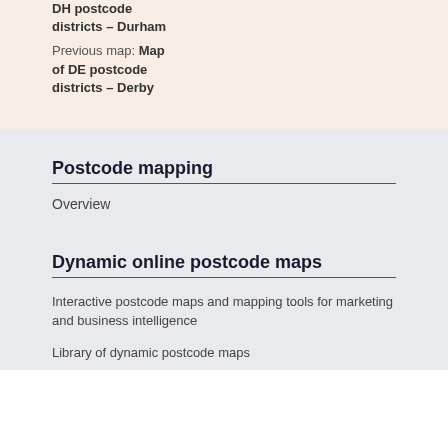DH postcode districts – Durham
Previous map: Map of DE postcode districts – Derby
Postcode mapping
Overview
Dynamic online postcode maps
Interactive postcode maps and mapping tools for marketing and business intelligence
Library of dynamic postcode maps